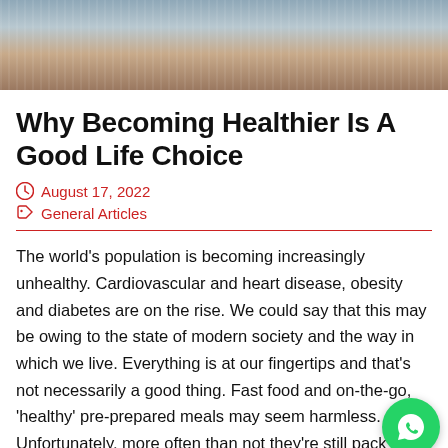[Figure (photo): Photo of a person with arms crossed, wearing a light-colored top against a textured background]
Why Becoming Healthier Is A Good Life Choice
August 17, 2022
General Articles
The world’s population is becoming increasingly unhealthy. Cardiovascular and heart disease, obesity and diabetes are on the rise. We could say that this may be owing to the state of modern society and the way in which we live. Everything is at our fingertips and that’s not necessarily a good thing. Fast food and on-the-go, ‘healthy’ pre-prepared meals may seem harmless. Unfortunately, more often than not they’re still packed with unhealthy ingredients that could lead to disease.